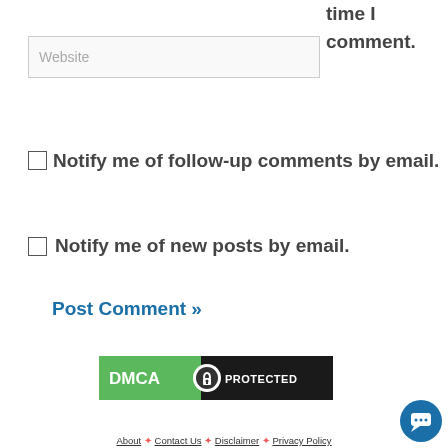time I comment.
Website
Notify me of follow-up comments by email.
Notify me of new posts by email.
Post Comment »
[Figure (logo): DMCA Protected badge with green and black background]
[Figure (illustration): Blue circular chat bubble button]
About  ❧  Contact Us  ❧  Disclaimer  ❧  Privacy Policy